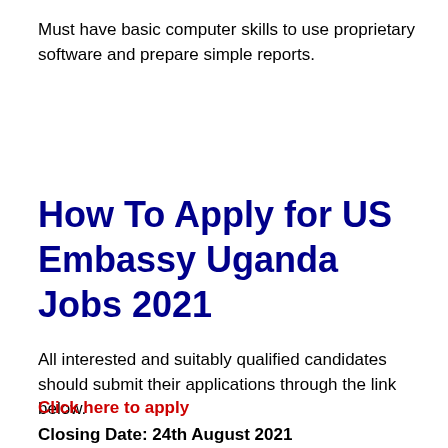Must have basic computer skills to use proprietary software and prepare simple reports.
How To Apply for US Embassy Uganda Jobs 2021
All interested and suitably qualified candidates should submit their applications through the link below.
Click here to apply
Closing Date: 24th August 2021